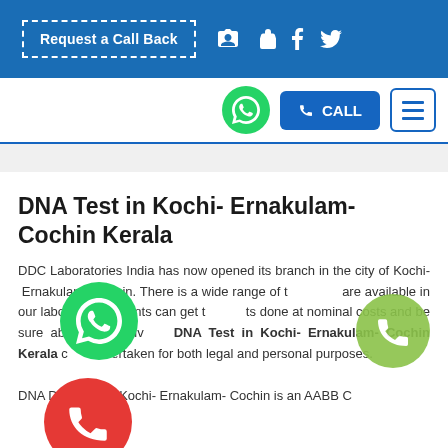Request a Call Back  f  🐦
[Figure (screenshot): Navigation bar with WhatsApp icon, CALL button, and hamburger menu]
DNA Test in Kochi- Ernakulam- Cochin Kerala
DDC Laboratories India has now opened its branch in the city of Kochi- Ernakulam- Cochin. There is a wide range of tests are available in our laboratory. Patients can get the tests done at nominal costs and be sure about their privacy. DNA Test in Kochi- Ernakulam- Cochin Kerala can be undertaken for both legal and personal purposes.

DNA Diagnostics Kochi- Ernakulam- Cochin is an AABB Certified laboratory that ensures...